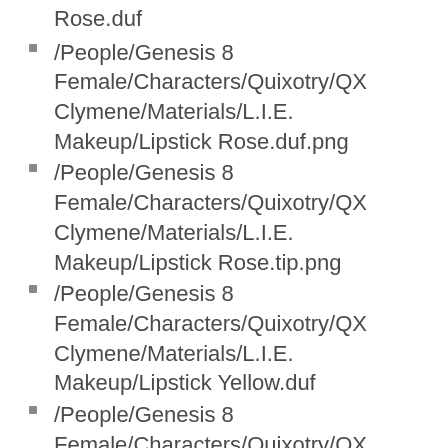Rose.duf
/People/Genesis 8 Female/Characters/Quixotry/QX Clymene/Materials/L.I.E. Makeup/Lipstick Rose.duf.png
/People/Genesis 8 Female/Characters/Quixotry/QX Clymene/Materials/L.I.E. Makeup/Lipstick Rose.tip.png
/People/Genesis 8 Female/Characters/Quixotry/QX Clymene/Materials/L.I.E. Makeup/Lipstick Yellow.duf
/People/Genesis 8 Female/Characters/Quixotry/QX Clymene/Materials/L.I.E. Makeup/Lipstick Yellow.duf.png
/People/Genesis 8 Female/Characters/Quixotry/QX Clymene/Materials/L.I.E. Makeup/Lipstick Yellow.tip.png